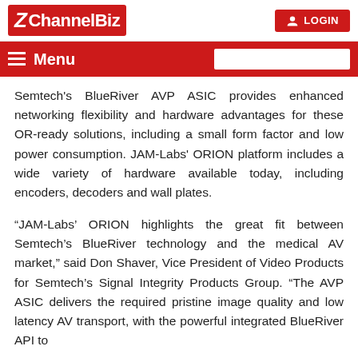ChannelBiz | LOGIN
Menu
Semtech’s BlueRiver AVP ASIC provides enhanced networking flexibility and hardware advantages for these OR-ready solutions, including a small form factor and low power consumption. JAM-Labs’ ORION platform includes a wide variety of hardware available today, including encoders, decoders and wall plates.
“JAM-Labs’ ORION highlights the great fit between Semtech’s BlueRiver technology and the medical AV market,” said Don Shaver, Vice President of Video Products for Semtech’s Signal Integrity Products Group. “The AVP ASIC delivers the required pristine image quality and low latency AV transport, with the powerful integrated BlueRiver API to